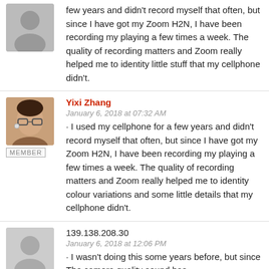few years and didn't record myself that often, but since I have got my Zoom H2N, I have been recording my playing a few times a week. The quality of recording matters and Zoom really helped me to identity little stuff that my cellphone didn't.
Yixi Zhang
January 6, 2018 at 07:32 AM · I used my cellphone for a few years and didn't record myself that often, but since I have got my Zoom H2N, I have been recording my playing a few times a week. The quality of recording matters and Zoom really helped me to identity colour variations and some little details that my cellphone didn't.
139.138.208.30
January 6, 2018 at 12:06 PM · I wasn't doing this some years before, but since The camera quality sound has